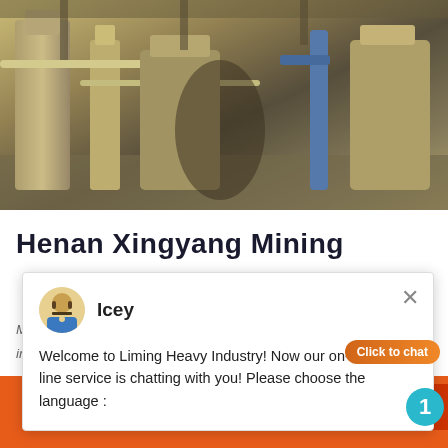[Figure (photo): Industrial manufacturing facility interior showing large machinery and equipment in a factory setting]
Henan Xingyang Mining
[Figure (screenshot): Live chat popup overlay with avatar of 'Icey', message: Welcome to Liming Heavy Industry! Now our online service is chatting with you! Please choose the language:]
Manufactory,is a large sized joint-stock ent... integrated with the scientific research,prod...
Chat Online   cywaitml @gmail.com